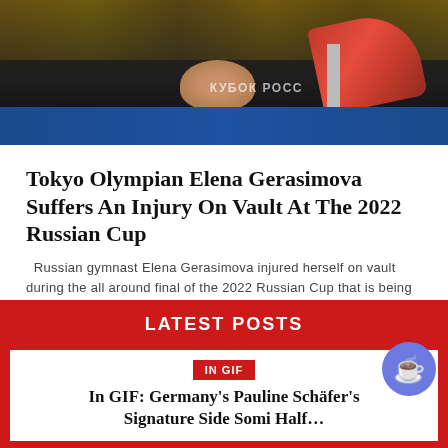[Figure (photo): A gymnast lying on the vault floor mat at a gymnastics competition (2022 Russian Cup). A red vaulting apparatus and support post are visible. Russian text 'КУБОК РОСС' is visible on a banner in the background crowd.]
Tokyo Olympian Elena Gerasimova Suffers An Injury On Vault At The 2022 Russian Cup
Russian gymnast Elena Gerasimova injured herself on vault during the all around final of the 2022 Russian Cup that is being currently held...
LATEST POSTS
IN GIF
In GIF: Germany's Pauline Schäfer's Signature Side Somi Half...